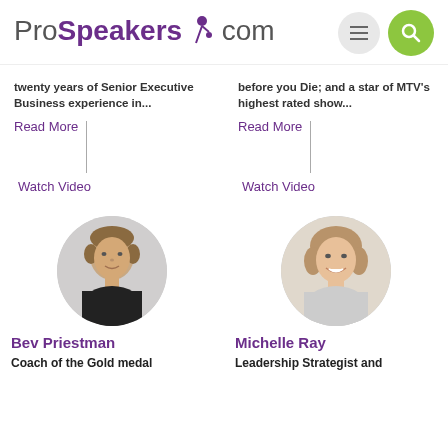ProSpeakers.com
twenty years of Senior Executive Business experience in...
before you Die; and a star of MTV's highest rated show...
Read More
Read More
Watch Video
Watch Video
[Figure (photo): Portrait photo of Bev Priestman in circular crop]
Bev Priestman
Coach of the Gold medal
[Figure (photo): Portrait photo of Michelle Ray in circular crop]
Michelle Ray
Leadership Strategist and